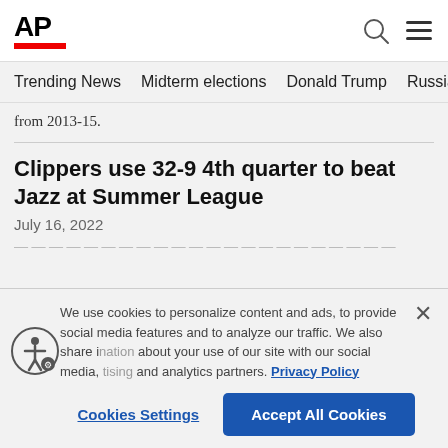AP
Trending News  Midterm elections  Donald Trump  Russia-Ukr
from 2013-15.
Clippers use 32-9 4th quarter to beat Jazz at Summer League
July 16, 2022
We use cookies to personalize content and ads, to provide social media features and to analyze our traffic. We also share information about your use of our site with our social media, advertising and analytics partners. Privacy Policy
Cookies Settings  Accept All Cookies